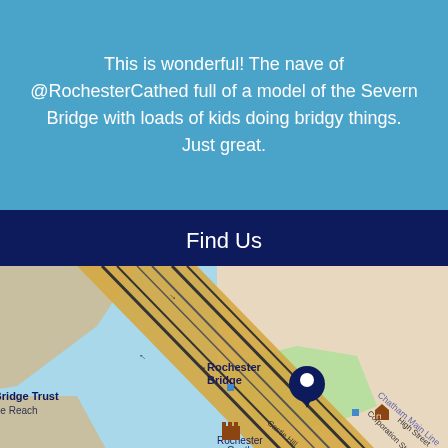This is wonderful! The nave of @RochesterCathed full of a model of the Severn Bridge with loads of kids doing bridgy things. Just great.
Find Us
[Figure (map): Map showing Rochester Bridge Trust location near Rochester Bridge, with Castle Hill, Bridge Reach, Rochester Castle, Corporation Street, High Street, and Chatham Main Line railway visible.]